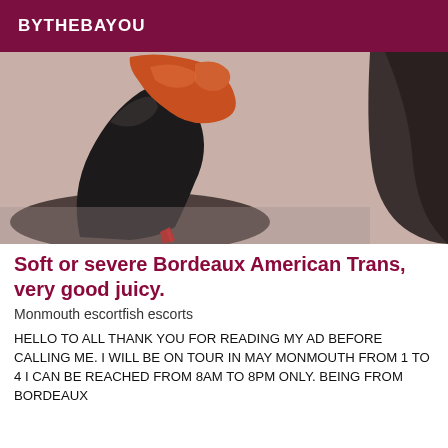BYTHEBAYOU
[Figure (photo): Close-up photo of a black high-heel shoe being held by a hand wearing an orange/red glove, against a light background with another dark object at the right edge.]
Soft or severe Bordeaux American Trans, very good juicy.
Monmouth escortfish escorts
HELLO TO ALL THANK YOU FOR READING MY AD BEFORE CALLING ME. I WILL BE ON TOUR IN MAY MONMOUTH FROM 1 TO 4 I CAN BE REACHED FROM 8AM TO 8PM ONLY. BEING FROM BORDEAUX